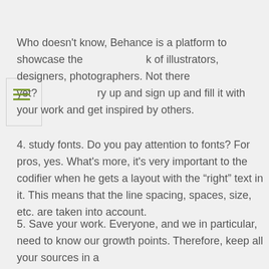Who doesn't know, Behance is a platform to showcase the work of illustrators, designers, photographers. Not there yet? Try up and sign up and fill it with your work and get inspired by others.
4. study fonts. Do you pay attention to fonts? For pros, yes. What's more, it's very important to the codifier when he gets a layout with the “right” text in it. This means that the line spacing, spaces, size, etc. are taken into account.
5. Save your work. Everyone, and we in particular, need to know our growth points. Therefore, keep all your sources in a